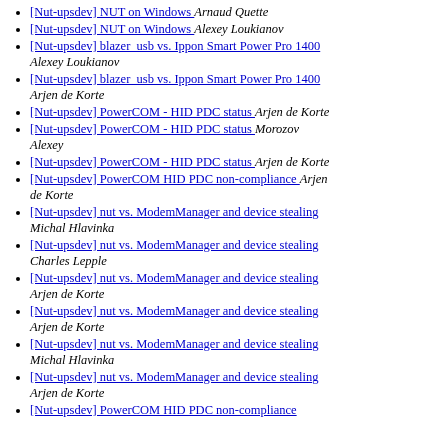[Nut-upsdev] NUT on Windows  Arnaud Quette
[Nut-upsdev] NUT on Windows  Alexey Loukianov
[Nut-upsdev] blazer_usb vs. Ippon Smart Power Pro 1400  Alexey Loukianov
[Nut-upsdev] blazer_usb vs. Ippon Smart Power Pro 1400  Arjen de Korte
[Nut-upsdev] PowerCOM - HID PDC status  Arjen de Korte
[Nut-upsdev] PowerCOM - HID PDC status  Morozov Alexey
[Nut-upsdev] PowerCOM - HID PDC status  Arjen de Korte
[Nut-upsdev] PowerCOM HID PDC non-compliance  Arjen de Korte
[Nut-upsdev] nut vs. ModemManager and device stealing  Michal Hlavinka
[Nut-upsdev] nut vs. ModemManager and device stealing  Charles Lepple
[Nut-upsdev] nut vs. ModemManager and device stealing  Arjen de Korte
[Nut-upsdev] nut vs. ModemManager and device stealing  Arjen de Korte
[Nut-upsdev] nut vs. ModemManager and device stealing  Michal Hlavinka
[Nut-upsdev] nut vs. ModemManager and device stealing  Arjen de Korte
[Nut-upsdev] PowerCOM HID PDC non-compliance